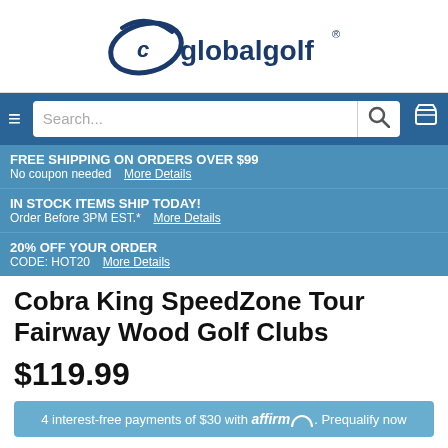[Figure (logo): Global Golf logo with swoosh golf ball and text 'globalgolf' with registered trademark symbol]
[Figure (screenshot): Navigation bar with hamburger menu, search box, and cart icon on blue background]
FREE SHIPPING ON ORDERS OVER $99
No coupon needed  More Details
IN STOCK ITEMS SHIP TODAY!
Order Before 3PM EST.*  More Details
20% OFF YOUR ORDER
CODE: HOT20  More Details
Cobra King SpeedZone Tour Fairway Wood Golf Clubs
$119.99
4 interest-free payments of $30 with affirm. Prequalify now
(7 reviews)